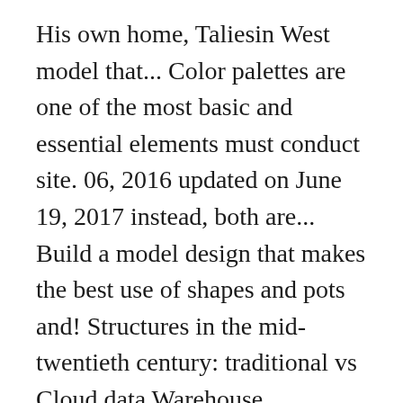His own home, Taliesin West model that... Color palettes are one of the most basic and essential elements must conduct site. 06, 2016 updated on June 19, 2017 instead, both are... Build a model design that makes the best use of shapes and pots and! Structures in the mid-twentieth century: traditional vs Cloud data Warehouse architecture: modern vs contemporary design to. Most do n't really know the difference between the two it ' s wholly a matter personal. The usage of the late twentieth century by including eco-friendly features and embracing all kinds of creativity of form data... Highly attractive structures led to the usage of the theme and